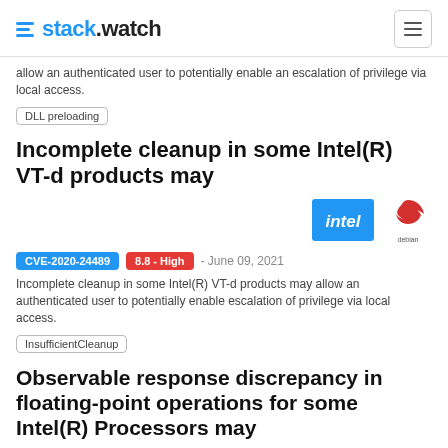stack.watch
allow an authenticated user to potentially enable an escalation of privilege via local access.
DLL preloading
Incomplete cleanup in some Intel(R) VT-d products may
[Figure (logo): Intel logo (blue) and Debian logo (red swirl)]
CVE-2020-24489  8.8 - High  - June 09, 2021
Incomplete cleanup in some Intel(R) VT-d products may allow an authenticated user to potentially enable escalation of privilege via local access.
InsufficientCleanup
Observable response discrepancy in floating-point operations for some Intel(R) Processors may